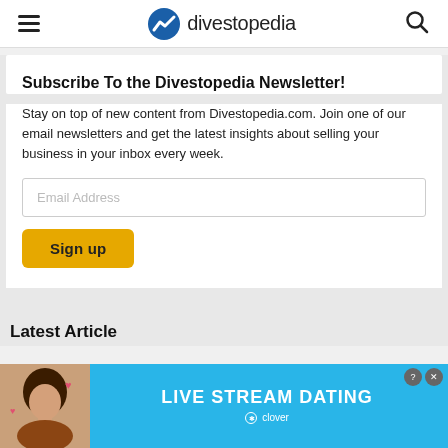divestopedia
Subscribe To the Divestopedia Newsletter!
Stay on top of new content from Divestopedia.com. Join one of our email newsletters and get the latest insights about selling your business in your inbox every week.
Latest Articles
[Figure (photo): Advertisement banner for Clover Live Stream Dating app with a woman and heart emojis on a blue background]